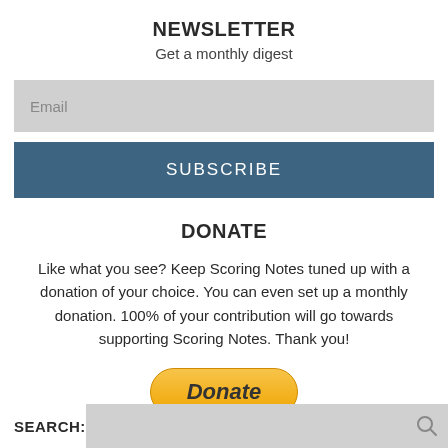NEWSLETTER
Get a monthly digest
Email
SUBSCRIBE
DONATE
Like what you see? Keep Scoring Notes tuned up with a donation of your choice. You can even set up a monthly donation. 100% of your contribution will go towards supporting Scoring Notes. Thank you!
[Figure (other): PayPal Donate button, golden/yellow rounded rectangle with italic bold text 'Donate']
SEARCH: